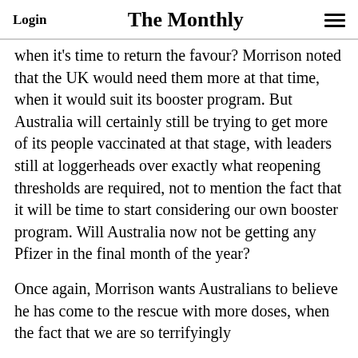Login | The Monthly
when it's time to return the favour? Morrison noted that the UK would need them more at that time, when it would suit its booster program. But Australia will certainly still be trying to get more of its people vaccinated at that stage, with leaders still at loggerheads over exactly what reopening thresholds are required, not to mention the fact that it will be time to start considering our own booster program. Will Australia now not be getting any Pfizer in the final month of the year?
Once again, Morrison wants Australians to believe he has come to the rescue with more doses, when the fact that we are so terrifyingly